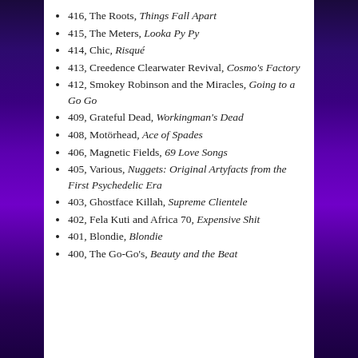416, The Roots, Things Fall Apart
415, The Meters, Looka Py Py
414, Chic, Risqué
413, Creedence Clearwater Revival, Cosmo's Factory
412, Smokey Robinson and the Miracles, Going to a Go Go
409, Grateful Dead, Workingman's Dead
408, Motörhead, Ace of Spades
406, Magnetic Fields, 69 Love Songs
405, Various, Nuggets: Original Artyfacts from the First Psychedelic Era
403, Ghostface Killah, Supreme Clientele
402, Fela Kuti and Africa 70, Expensive Shit
401, Blondie, Blondie
400, The Go-Go's, Beauty and the Beat